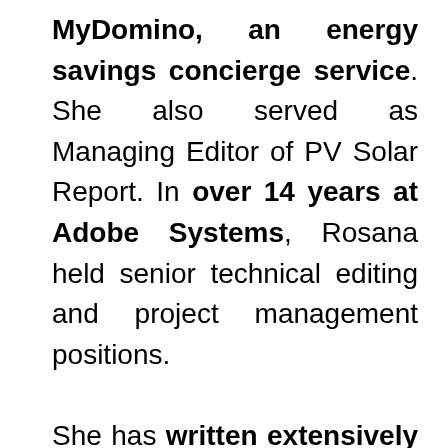MyDomino, an energy savings concierge service. She also served as Managing Editor of PV Solar Report. In over 14 years at Adobe Systems, Rosana held senior technical editing and project management positions.

She has written extensively on clean energy for publications like CleanTechnica, PV Solar Report, pv magazine, and Energy Central. While on the steering committee of